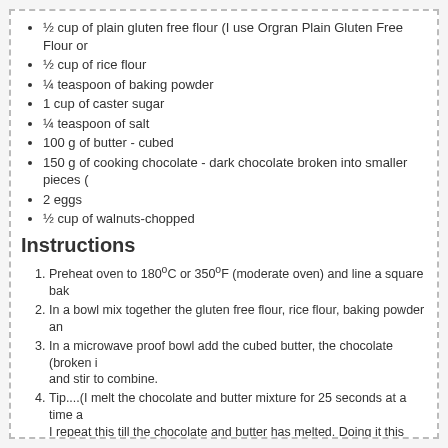½ cup of plain gluten free flour (I use Orgran Plain Gluten Free Flour or…
½ cup of rice flour
¼ teaspoon of baking powder
1 cup of caster sugar
¼ teaspoon of salt
100 g of butter - cubed
150 g of cooking chocolate - dark chocolate broken into smaller pieces (…
2 eggs
½ cup of walnuts-chopped
Instructions
1. Preheat oven to 180ºC or 350ºF (moderate oven) and line a square bak…
2. In a bowl mix together the gluten free flour, rice flour, baking powder an…
3. In a microwave proof bowl add the cubed butter, the chocolate (broken i… and stir to combine.
4. Tip....(I melt the chocolate and butter mixture for 25 seconds at a time a… I repeat this till the chocolate and butter has melted. Doing it this way, m… is nothing worse than the smell of burnt chocolate...right?)
5. Lightly beat the eggs and then add them to the flour mixture, and then a…
6. Mix until smooth.
7. Lightly beat the eggs and then add them to the flour mixture, and then a…
8. Mix until smooth.
9. Pour the mixture into the baking tin (lined with baking paper) and add th…
10. Bake in the oven for 20 mins or till a skewer is inserted and comes out w…
11. Let it cool in the pan and then remove from the tin by lifting out the baki…
12. Serve with cream or ice cream or you can dust with icing sugar or cocoa…
Recipe by Sparkles in the Everyday! at https://www.sparklesintheeveryday.com…